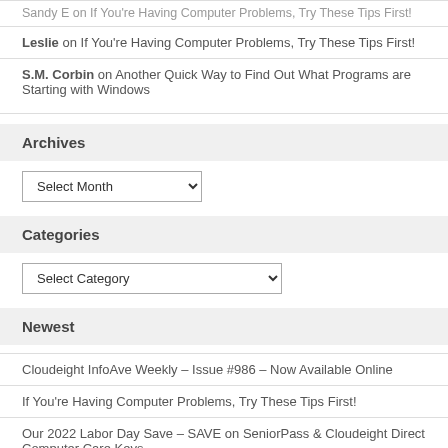Sandy E on If You're Having Computer Problems, Try These Tips First!
Leslie on If You're Having Computer Problems, Try These Tips First!
S.M. Corbin on Another Quick Way to Find Out What Programs are Starting with Windows
Archives
Select Month
Categories
Select Category
Newest
Cloudeight InfoAve Weekly – Issue #986 – Now Available Online
If You're Having Computer Problems, Try These Tips First!
Our 2022 Labor Day Save – SAVE on SeniorPass & Cloudeight Direct Computer Care Keys